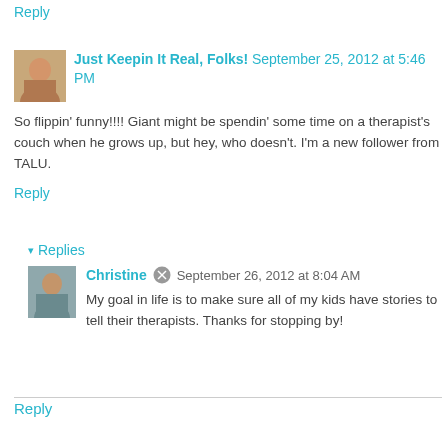Reply
Just Keepin It Real, Folks!  September 25, 2012 at 5:46 PM
So flippin' funny!!!! Giant might be spendin' some time on a therapist's couch when he grows up, but hey, who doesn't. I'm a new follower from TALU.
Reply
▾ Replies
Christine  September 26, 2012 at 8:04 AM
My goal in life is to make sure all of my kids have stories to tell their therapists. Thanks for stopping by!
Reply